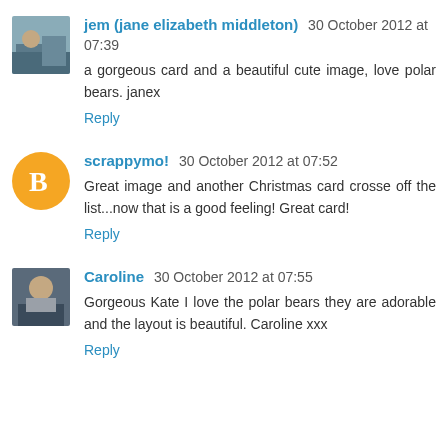[Figure (photo): Avatar photo of jem (jane elizabeth middleton)]
jem (jane elizabeth middleton) 30 October 2012 at 07:39
a gorgeous card and a beautiful cute image, love polar bears. janex
Reply
[Figure (logo): Orange Blogger 'B' icon avatar for scrappymo!]
scrappymo! 30 October 2012 at 07:52
Great image and another Christmas card crosse off the list...now that is a good feeling! Great card!
Reply
[Figure (photo): Avatar photo of Caroline]
Caroline 30 October 2012 at 07:55
Gorgeous Kate I love the polar bears they are adorable and the layout is beautiful. Caroline xxx
Reply